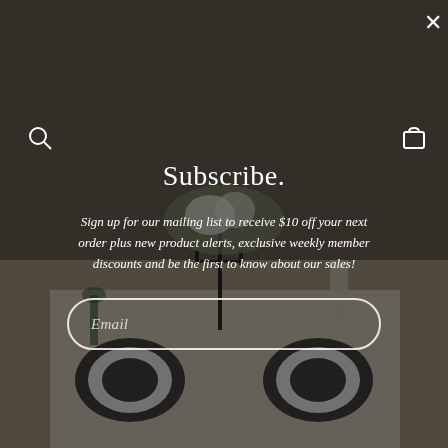[Figure (photo): Background photo of an elegantly set dining table with candelabras, flowers, plates, and glassware, overlaid with a dark semi-transparent overlay. Navigation icons (search and cart) visible at left and right edges.]
Subscribe.
Sign up for our mailing list to receive $10 off your next order plus new product alerts, exclusive weekly member discounts and be the first to know about our sales!